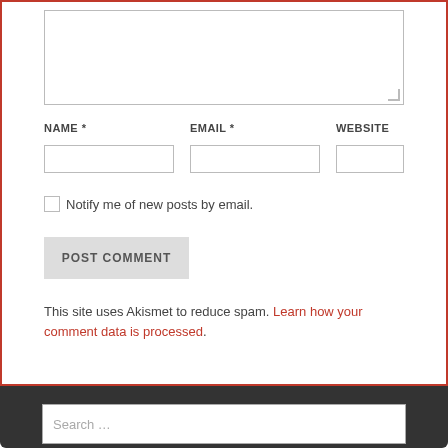[Figure (screenshot): Comment form section with text area, name/email/website fields, checkbox, and post comment button]
NAME * EMAIL * WEBSITE
Notify me of new posts by email.
POST COMMENT
This site uses Akismet to reduce spam. Learn how your comment data is processed.
Search ...